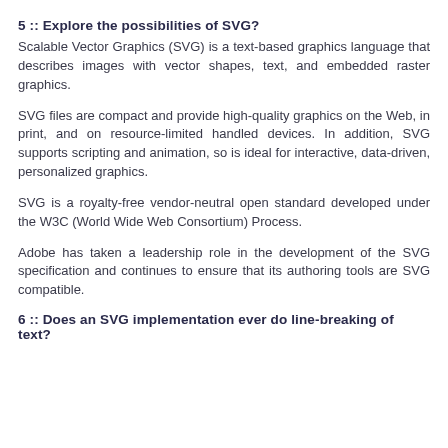5 :: Explore the possibilities of SVG?
Scalable Vector Graphics (SVG) is a text-based graphics language that describes images with vector shapes, text, and embedded raster graphics.
SVG files are compact and provide high-quality graphics on the Web, in print, and on resource-limited handled devices. In addition, SVG supports scripting and animation, so is ideal for interactive, data-driven, personalized graphics.
SVG is a royalty-free vendor-neutral open standard developed under the W3C (World Wide Web Consortium) Process.
Adobe has taken a leadership role in the development of the SVG specification and continues to ensure that its authoring tools are SVG compatible.
6 :: Does an SVG implementation ever do line-breaking of text?